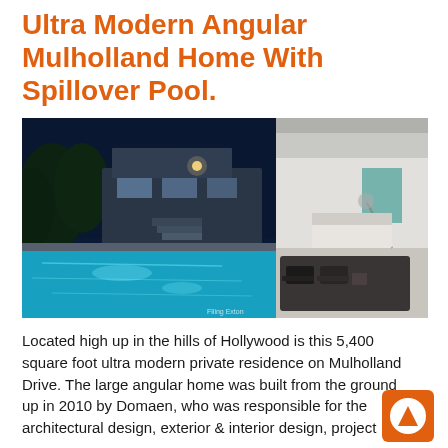Ultra Modern Angular Mulholland Home With Spillover Pool.
[Figure (photo): Split composite photo: left side shows an ultra modern angular home at night with an illuminated spillover pool in the foreground and trees in the background; right side shows a bright interior living space with modern furniture including lounge chairs on a dark area rug, white walls, and architectural ceiling details.]
Located high up in the hills of Hollywood is this 5,400 square foot ultra modern private residence on Mulholland Drive. The large angular home was built from the ground up in 2010 by Domaen, who was responsible for the architectural design, exterior & interior design, project